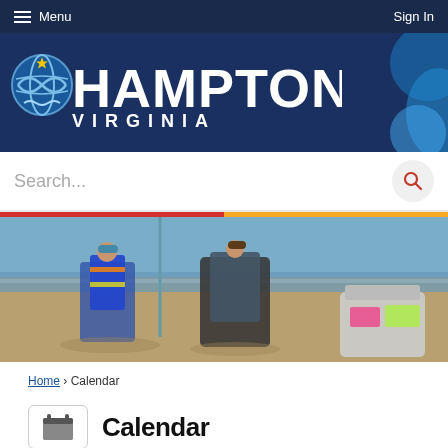Menu  |  Sign In
[Figure (logo): Hampton Virginia city logo with globe icon and wave design on dark navy background]
Search...
[Figure (photo): Beach scene with two people sitting in beach chairs facing the water, with a cooler and beach gear around them]
Home › Calendar
Calendar